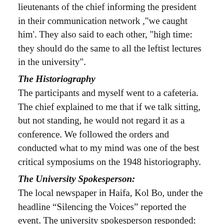lieutenants of the chief informing the president in their communication network ,"we caught him". They also said to each other, "high time: they should do the same to all the leftist lectures in the university".
The Historiography
The participants and myself went to a cafeteria. The chief explained to me that if we talk sitting, but not standing, he would not regard it as a conference. We followed the orders and conducted what to my mind was one of the best critical symposiums on the 1948 historiography.
The University Spokesperson:
The local newspaper in Haifa, Kol Bo, under the headline “Silencing the Voices” reported the event. The university spokesperson responded: the conference was not up to academic standards of Haifa university (indeed it was not).
Two reports
In the internal network of the university there were only two references to the event:
One by Dr. Yuval Yunai from the Department of Sociology